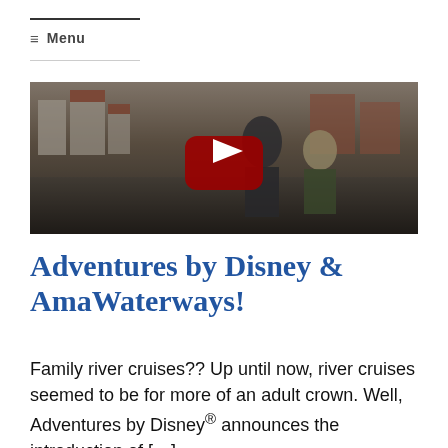☰ Menu
[Figure (screenshot): YouTube video thumbnail showing a couple standing in front of a European riverside town with buildings and red rooftops. A large red YouTube play button is centered on the image.]
Adventures by Disney & AmaWaterways!
Family river cruises?? Up until now, river cruises seemed to be for more of an adult crown. Well, Adventures by Disney® announces the introduction of […]